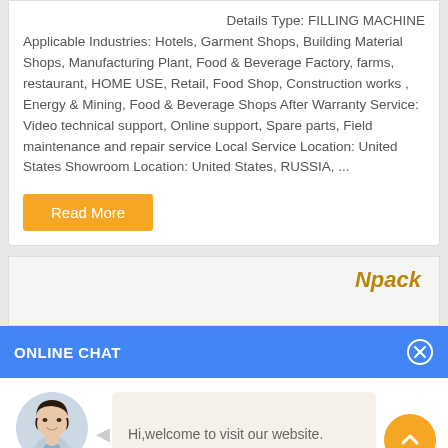Details Type: FILLING MACHINE Applicable Industries: Hotels, Garment Shops, Building Material Shops, Manufacturing Plant, Food & Beverage Factory, farms, restaurant, HOME USE, Retail, Food Shop, Construction works , Energy & Mining, Food & Beverage Shops After Warranty Service: Video technical support, Online support, Spare parts, Field maintenance and repair service Local Service Location: United States Showroom Location: United States, RUSSIA, ...
Read More
Npack
ONLINE CHAT
[Figure (photo): Avatar photo of a woman named Cilina, used as a chat representative icon]
Cilina
Hi,welcome to visit our website.